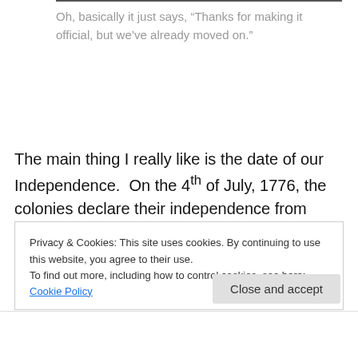Oh, basically it just says, “Thanks for making it official, but we’ve already moved on.”
The main thing I really like is the date of our Independence. On the 4th of July, 1776, the colonies declare their independence from England, after the war had begun, but far from when it ended. The war unofficially ends in 1781, and officially with the Treaty of Paris in
Privacy & Cookies: This site uses cookies. By continuing to use this website, you agree to their use.
To find out more, including how to control cookies, see here: Cookie Policy